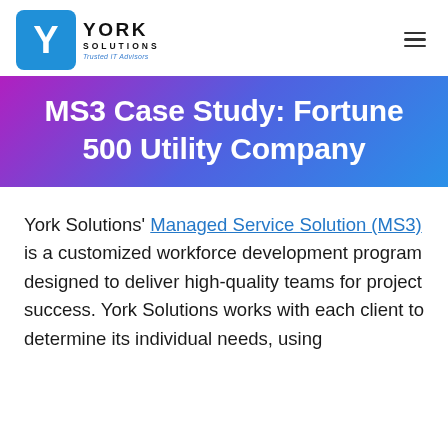York Solutions — Trusted IT Advisors
MS3 Case Study: Fortune 500 Utility Company
York Solutions' Managed Service Solution (MS3) is a customized workforce development program designed to deliver high-quality teams for project success. York Solutions works with each client to determine its individual needs, using